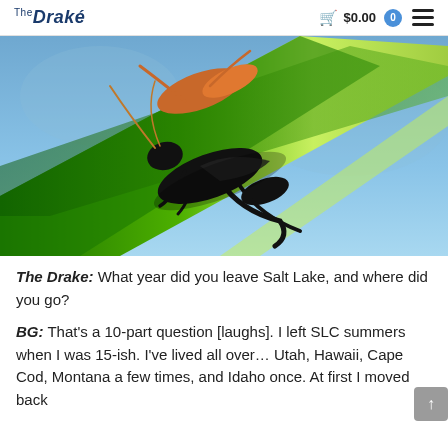The Drake  $0.00  0
[Figure (photo): Close-up macro photograph of a grasshopper silhouette on a green grass blade against a blue sky background. The grasshopper is shown in dark silhouette with orange/reddish coloring visible at the top.]
The Drake: What year did you leave Salt Lake, and where did you go?
BG: That's a 10-part question [laughs]. I left SLC summers when I was 15-ish. I've lived all over… Utah, Hawaii, Cape Cod, Montana a few times, and Idaho once. At first I moved back